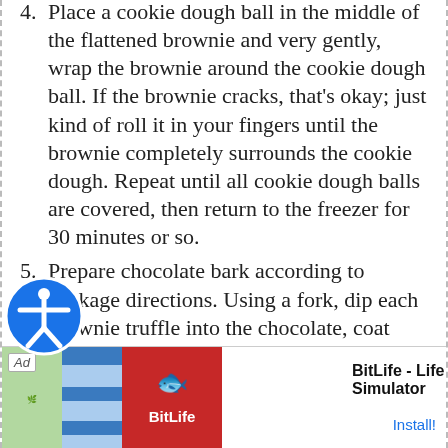4. Place a cookie dough ball in the middle of the flattened brownie and very gently, wrap the brownie around the cookie dough ball. If the brownie cracks, that's okay; just kind of roll it in your fingers until the brownie completely surrounds the cookie dough. Repeat until all cookie dough balls are covered, then return to the freezer for 30 minutes or so.
5. Prepare chocolate bark according to package directions. Using a fork, dip each brownie truffle into the chocolate, coat completely, and allow excess to drip off. Return to the foil-line sheet and sprinkle the tops with the remaining cup of mini chips, for garnish. Store these bad boys in the fridge or freezer, in an airtight container.
6. **Note: You may have extra balls of cookie dough leftover. May I suggest making cinnamon rolls or stuffed Oreos?
[Figure (screenshot): Advertisement banner for BitLife - Life Simulator app with Install button]